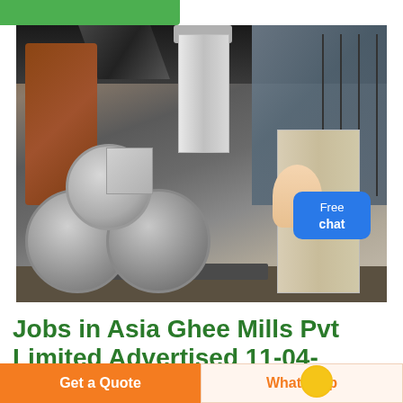[Figure (photo): Industrial machinery in a factory setting showing large grinding rollers, a hopper/cylinder, and metal framework. Background shows industrial warehouse with large windows and ductwork.]
Jobs in Asia Ghee Mills Pvt Limited Advertised 11-04-
Jobs in Asia Ghee Mills Pvt Limited Advertised 11- obs